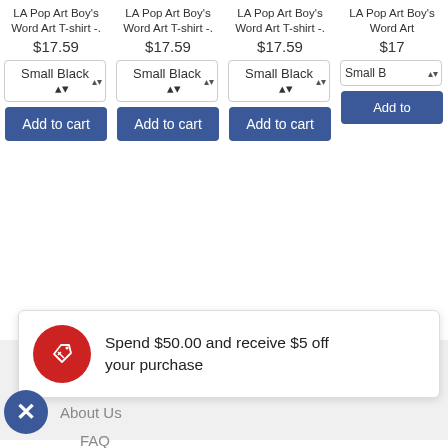LA Pop Art Boy's Word Art T-shirt -. $17.59 Small Black
LA Pop Art Boy's Word Art T-shirt -. $17.59 Small Black
LA Pop Art Boy's Word Art T-shirt -. $17.59 Small Black
LA Pop Art Boy's Word Art T-shirt -. $17.59 Small B
Add to cart
Add to cart
Add to cart
Add to
LA Pop Art
About Us
[Figure (infographic): Popup notification with red circular icon containing a price tag/coupon icon. Text reads: Spend $50.00 and receive $5 off your purchase]
FAQ
Terms of Service (partially visible)